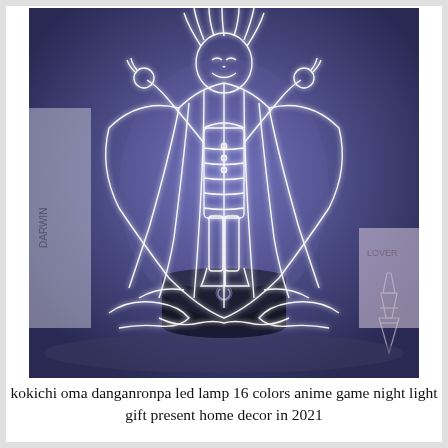[Figure (photo): A glowing 3D LED acrylic lamp featuring an anime character (Kokichi Oma from Danganronpa) with white neon-style outlines against a dark blue-purple background. The lamp sits on a dark cylindrical base. In the background are a book, a 'LOVER' labeled item, and a small Eiffel Tower figurine.]
kokichi oma danganronpa led lamp 16 colors anime game night light gift present home decor in 2021